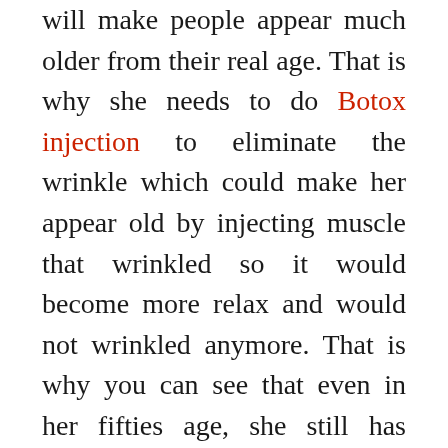will make people appear much older from their real age. That is why she needs to do Botox injection to eliminate the wrinkle which could make her appear old by injecting muscle that wrinkled so it would become more relax and would not wrinkled anymore. That is why you can see that even in her fifties age, she still has clean skin without any wrinkled on the outer layer.
Helen Hunt Facelift Surgery
Along with the first aging sign, Helen Hunt skin would also become sagging because the effect